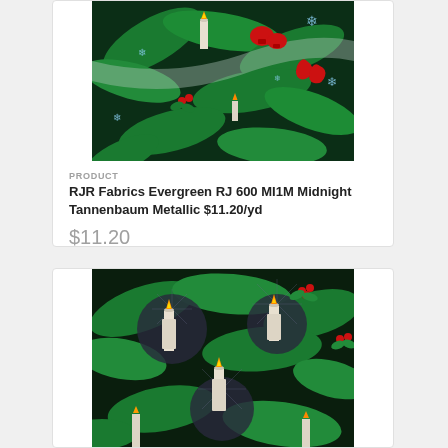[Figure (photo): Christmas fabric with pine branches, red bells, snowflakes, and candles on black background — Evergreen RJ 600 MI1M Midnight Tannenbaum Metallic]
PRODUCT
RJR Fabrics Evergreen RJ 600 MI1M Midnight Tannenbaum Metallic $11.20/yd
$11.20
[Figure (photo): Christmas fabric with candles, holly, pine branches on dark background — second product listing]